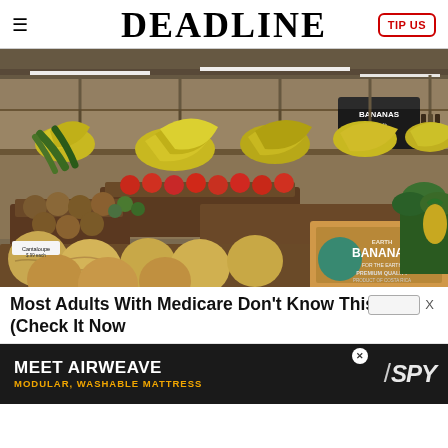DEADLINE
[Figure (photo): Grocery store produce section showing hanging bunches of bananas, melons, tomatoes, and other fruits displayed in wooden crates and bins. A cardboard box labeled 'Earth Bananas Premium Quality Product of Costa Rica' is visible in the foreground.]
Most Adults With Medicare Don't Know This (Check It Now
[Figure (other): Advertisement banner: MEET AIRWEAVE - MODULAR, WASHABLE MATTRESS with SPY logo]